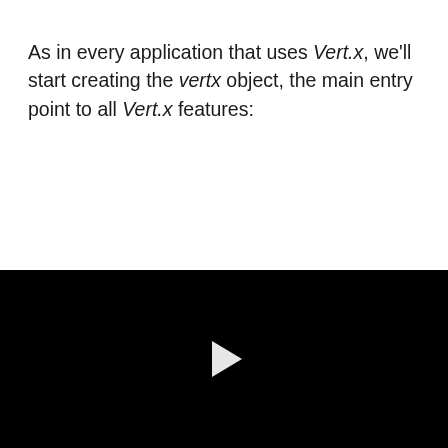As in every application that uses Vert.x, we'll start creating the vertx object, the main entry point to all Vert.x features:
[Figure (screenshot): Black video player area with a white play button triangle in the center]